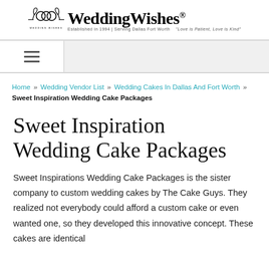[Figure (logo): Wedding Wishes logo with decorative emblem on the left and bold serif text 'WeddingWishes' with tagline 'Established in 1994 | Serving Dallas Fort Worth' and 'Love is Patient, Love is Kind']
Home » Wedding Vendor List » Wedding Cakes In Dallas And Fort Worth » Sweet Inspiration Wedding Cake Packages
Sweet Inspiration Wedding Cake Packages
Sweet Inspirations Wedding Cake Packages is the sister company to custom wedding cakes by The Cake Guys. They realized not everybody could afford a custom cake or even wanted one, so they developed this innovative concept. These cakes are identical